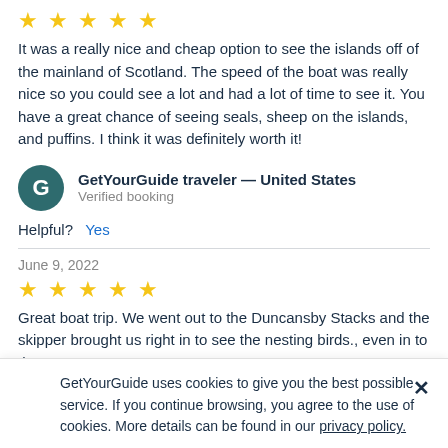[Figure (other): Five gold stars rating]
It was a really nice and cheap option to see the islands off of the mainland of Scotland. The speed of the boat was really nice so you could see a lot and had a lot of time to see it. You have a great chance of seeing seals, sheep on the islands, and puffins. I think it was definitely worth it!
GetYourGuide traveler — United States
Verified booking
Helpful?  Yes
June 9, 2022
[Figure (other): Four gold stars rating]
Great boat trip. We went out to the Duncansby Stacks and the skipper brought us right in to see the nesting birds., even in to the
GetYourGuide uses cookies to give you the best possible service. If you continue browsing, you agree to the use of cookies. More details can be found in our privacy policy.